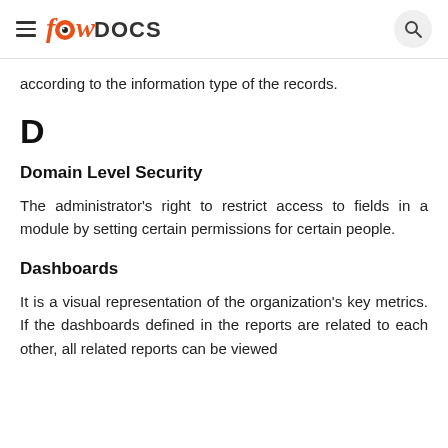fowDOCS
according to the information type of the records.
D
Domain Level Security
The administrator's right to restrict access to fields in a module by setting certain permissions for certain people.
Dashboards
It is a visual representation of the organization's key metrics. If the dashboards defined in the reports are related to each other, all related reports can be viewed